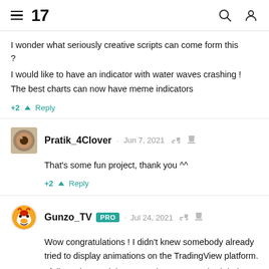TradingView navigation header
I wonder what seriously creative scripts can come form this ?
I would like to have an indicator with water waves crashing !
The best charts can now have meme indicators
+2  Reply
Pratik_4Clover · Jun 7, 2021
That's some fun project, thank you ^^
+2  Reply
Gunzo_TV PRO · Jul 24, 2021
Wow congratulations ! I didn't knew somebody already tried to display animations on the TradingView platform.
I fully understand the constraints you may had during your